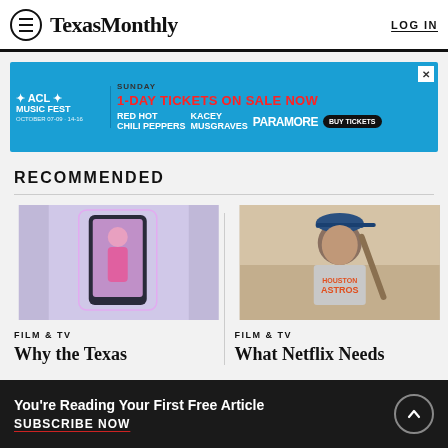Texas Monthly — LOG IN
[Figure (screenshot): ACL Music Fest advertisement banner: 1-DAY TICKETS ON SALE NOW, Sunday, Red Hot Chili Peppers, Kacey Musgraves, Paramore, Buy Tickets]
RECOMMENDED
[Figure (photo): Hand holding a smartphone showing a woman on screen, purple background]
FILM & TV
Why the Texas
[Figure (photo): Man wearing Houston Astros t-shirt and blue cap, leaning on something outdoors]
FILM & TV
What Netflix Needs
You're Reading Your First Free Article
SUBSCRIBE NOW